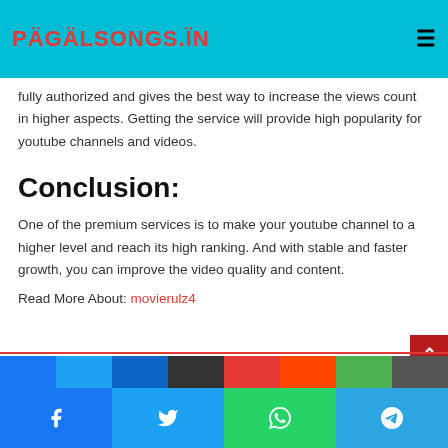PAGALSONGS.IN
fully authorized and gives the best way to increase the views count in higher aspects. Getting the service will provide high popularity for youtube channels and videos.
Conclusion:
One of the premium services is to make your youtube channel to a higher level and reach its high ranking. And with stable and faster growth, you can improve the video quality and content.
Read More About: movierulz4
Facebook Twitter WhatsApp Telegram